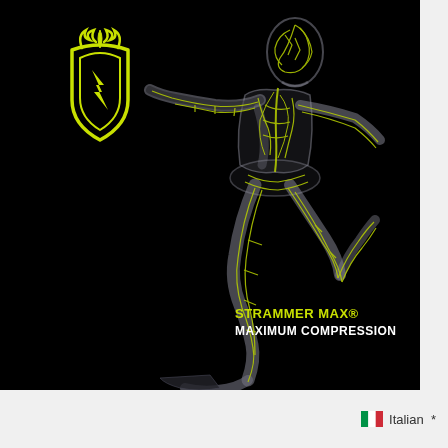[Figure (illustration): Black background product advertisement image showing a running human figure rendered as a transparent/x-ray style illustration with yellow glowing neural/vascular network visible inside the body. Top left shows a yellow shield-shaped logo with flame/antler design. Bottom right text overlay reads 'STRAMMER MAX® MAXIMUM COMPRESSION' in yellow and white.]
Italian *